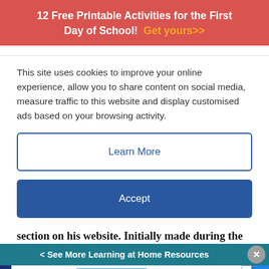12 Free Printable Activities for the First Day of School! Get yours>>
This site uses cookies to improve your online experience, allow you to share content on social media, measure traffic to this website and display customised ads based on your browsing activity.
Learn More
Accept
section on his website. Initially made during the
< See More Learning at Home Resources
[Figure (screenshot): Disney Bundle advertisement banner showing Hulu, Disney+, ESPN+ logos with 'GET THE DISNEY BUNDLE' call to action button]